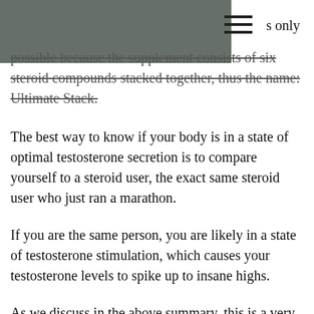possible because the supplement consists of six steroid compounds stacked together, thus the name: Ultimate Stack.
The best way to know if your body is in a state of optimal testosterone secretion is to compare yourself to a steroid user, the exact same steroid user who just ran a marathon.
If you are the same person, you are likely in a state of testosterone stimulation, which causes your testosterone levels to spike up to insane highs.
As we discuss in the above summary, this is a very dangerous state, and many other men have experienced this situation.
If you look for an easy way to find out if you are in this state, there are a lot of ways